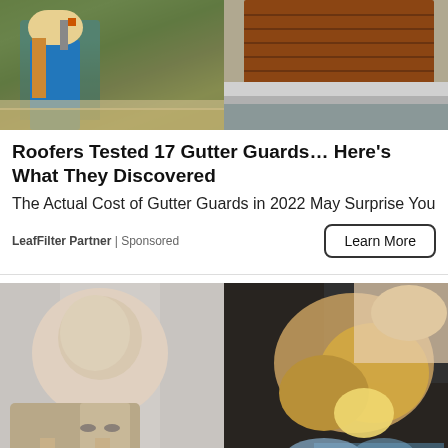[Figure (photo): Photo of a worker on a roof installing or cleaning gutters, split with close-up of a gutter]
Roofers Tested 17 Gutter Guards… Here's What They Discovered
The Actual Cost of Gutter Guards in 2022 May Surprise You
LeafFilter Partner | Sponsored
Learn More
[Figure (photo): Split image: left side shows an older doctor or professional in a suit pointing; right side shows close-up of what appears to be toenail fungus treatment]